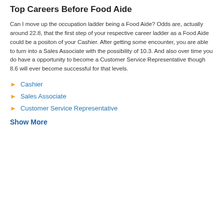Top Careers Before Food Aide
Can I move up the occupation ladder being a Food Aide? Odds are, actually around 22.8, that the first step of your respective career ladder as a Food Aide could be a positon of your Cashier. After getting some encounter, you are able to turn into a Sales Associate with the possibility of 10.3. And also over time you do have a opportunity to become a Customer Service Representative though 8.6 will ever become successful for that levels.
Cashier
Sales Associate
Customer Service Representative
Show More